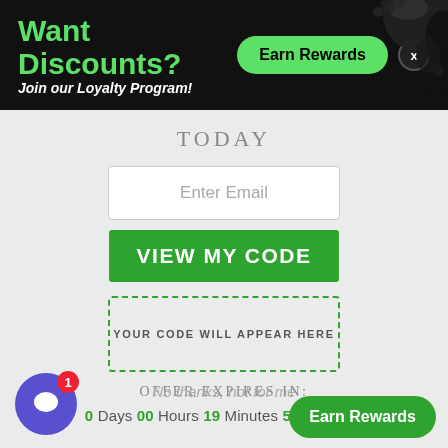[Figure (infographic): Black banner with green text 'Want Discounts?' and white italic text 'Join our Loyalty Program!', a green 'Earn Rewards' pill button, a close X button, and a black paint splatter graphic in the top-right corner.]
TODAY
Enter Email
VIEW MY CODE
YOUR CODE WILL APPEAR HERE
OFFER EXPIRES IN:
0 Days 00 Hours 19 Minutes 59 Seconds
No thanks, not for me
Earn Rewards